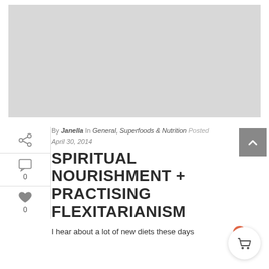[Figure (photo): Large light gray placeholder image at the top of the article page]
By Janella In General, Superfoods & Nutrition Posted April 30, 2014
SPIRITUAL NOURISHMENT + PRACTISING FLEXITARIANISM
I hear about a lot of new diets these days